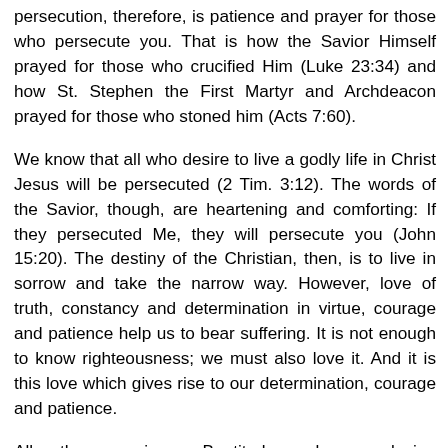persecution, therefore, is patience and prayer for those who persecute you. That is how the Savior Himself prayed for those who crucified Him (Luke 23:34) and how St. Stephen the First Martyr and Archdeacon prayed for those who stoned him (Acts 7:60).
We know that all who desire to live a godly life in Christ Jesus will be persecuted (2 Tim. 3:12). The words of the Savior, though, are heartening and comforting: If they persecuted Me, they will persecute you (John 15:20). The destiny of the Christian, then, is to live in sorrow and take the narrow way. However, love of truth, constancy and determination in virtue, courage and patience help us to bear suffering. It is not enough to know righteousness; we must also love it. And it is this love which gives rise to our determination, courage and patience.
All the previous Beatitudes, by producing corresponding virtues in the heart of the Christian, prepare him for active love of Christ's righteousness, and for spiritual life in Christ